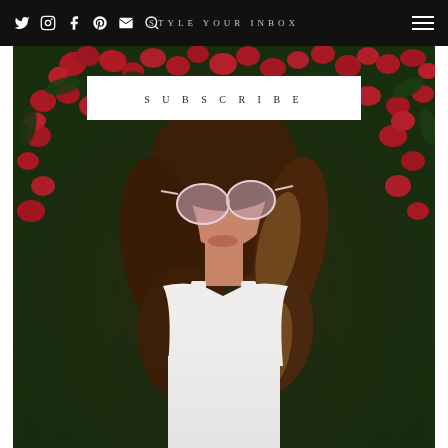STYLE YOUR INBOX
SUBSCRIBE
[Figure (photo): A young woman with long brown hair and tinted round sunglasses, wearing a white top, posing against a background of red bougainvillea flowers and dark green foliage.]